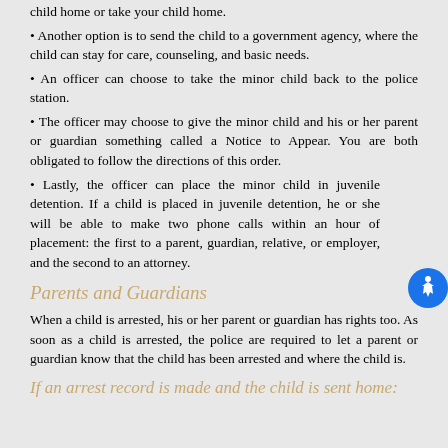child home or take your child home.
Another option is to send the child to a government agency, where the child can stay for care, counseling, and basic needs.
An officer can choose to take the minor child back to the police station.
The officer may choose to give the minor child and his or her parent or guardian something called a Notice to Appear. You are both obligated to follow the directions of this order.
Lastly, the officer can place the minor child in juvenile detention. If a child is placed in juvenile detention, he or she will be able to make two phone calls within an hour of placement: the first to a parent, guardian, relative, or employer, and the second to an attorney.
Parents and Guardians
When a child is arrested, his or her parent or guardian has rights too. As soon as a child is arrested, the police are required to let a parent or guardian know that the child has been arrested and where the child is.
If an arrest record is made and the child is sent home: